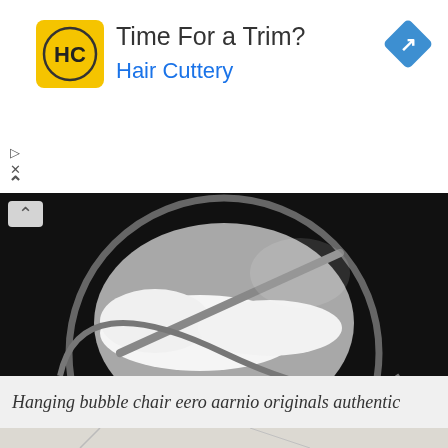[Figure (screenshot): Advertisement banner for Hair Cuttery: yellow square logo with 'HC' letters, headline 'Time For a Trim?', brand name 'Hair Cuttery' in blue, blue navigation diamond icon top right, play and X controls bottom left, upward chevron arrow]
[Figure (photo): Close-up photo of a hanging bubble chair (Eero Aarnio style) with transparent acrylic shell and white cushion interior, black background]
Hanging bubble chair eero aarnio originals authentic
[Figure (photo): Interior room photo showing a white ceiling with exposed pipes/rails, partial view of a round hanging chair frame, blurred background]